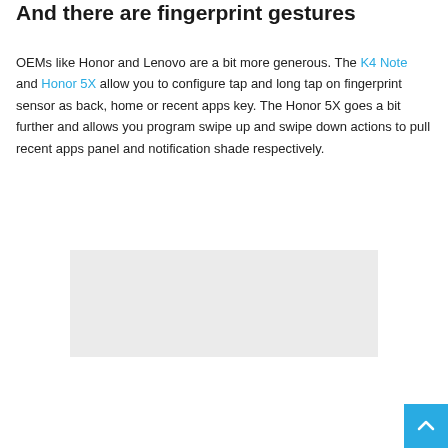And there are fingerprint gestures
OEMs like Honor and Lenovo are a bit more generous. The K4 Note and Honor 5X allow you to configure tap and long tap on fingerprint sensor as back, home or recent apps key. The Honor 5X goes a bit further and allows you program swipe up and swipe down actions to pull recent apps panel and notification shade respectively.
[Figure (other): Gray advertisement placeholder box]
[Figure (other): Scroll-to-top button with upward chevron arrow in blue]